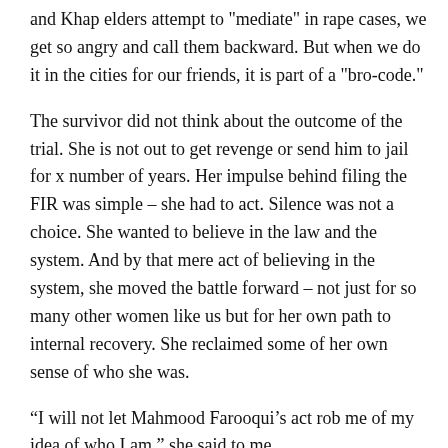and Khap elders attempt to "mediate" in rape cases, we get so angry and call them backward. But when we do it in the cities for our friends, it is part of a "bro-code."
The survivor did not think about the outcome of the trial. She is not out to get revenge or send him to jail for x number of years. Her impulse behind filing the FIR was simple – she had to act. Silence was not a choice. She wanted to believe in the law and the system. And by that mere act of believing in the system, she moved the battle forward – not just for so many other women like us but for her own path to internal recovery. She reclaimed some of her own sense of who she was.
“I will not let Mahmood Farooqui’s act rob me of my idea of who I am,” she said to me.
In this, there is a lesson for all of us. We are too familiar with the way the system works. We complain about police investigations, court trials, victim blaming and so on. But only if we keep pushing the system – and acting as if we believe that the process